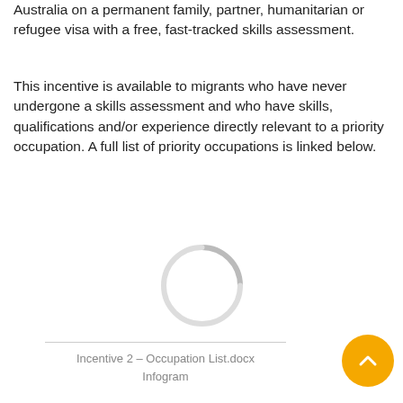Australia on a permanent family, partner, humanitarian or refugee visa with a free, fast-tracked skills assessment.
This incentive is available to migrants who have never undergone a skills assessment and who have skills, qualifications and/or experience directly relevant to a priority occupation. A full list of priority occupations is linked below.
[Figure (other): Loading spinner graphic (circular arc, grey)]
Incentive 2 – Occupation List.docx
Infogram